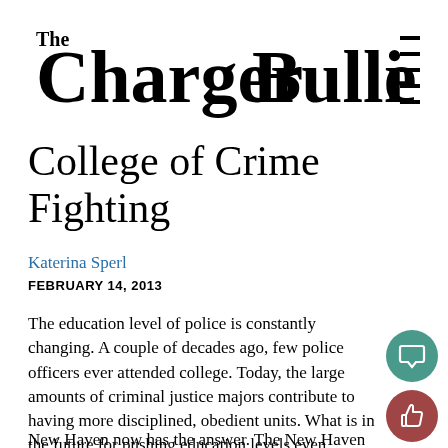The Charger Bulletin
College of Crime Fighting
Katerina Sperl
FEBRUARY 14, 2013
The education level of police is constantly changing. A couple of decades ago, few police officers ever attended college. Today, the large amounts of criminal justice majors contribute to having more disciplined, obedient units. What is in the future for pushing education levels even higher?
New Haven now has the answer. The New Haven